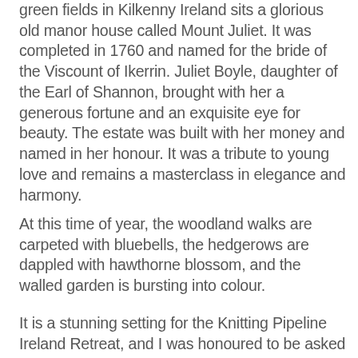green fields in Kilkenny Ireland sits a glorious old manor house called Mount Juliet. It was completed in 1760 and named for the bride of the Viscount of Ikerrin. Juliet Boyle, daughter of the Earl of Shannon, brought with her a generous fortune and an exquisite eye for beauty. The estate was built with her money and named in her honour. It was a tribute to young love and remains a masterclass in elegance and harmony.
At this time of year, the woodland walks are carpeted with bluebells, the hedgerows are dappled with hawthorne blossom, and the walled garden is bursting into colour.
It is a stunning setting for the Knitting Pipeline Ireland Retreat, and I was honoured to be asked